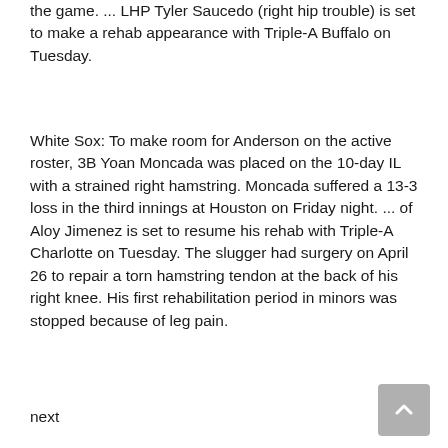the game. ... LHP Tyler Saucedo (right hip trouble) is set to make a rehab appearance with Triple-A Buffalo on Tuesday.
White Sox: To make room for Anderson on the active roster, 3B Yoan Moncada was placed on the 10-day IL with a strained right hamstring. Moncada suffered a 13-3 loss in the third innings at Houston on Friday night. ... of Aloy Jimenez is set to resume his rehab with Triple-A Charlotte on Tuesday. The slugger had surgery on April 26 to repair a torn hamstring tendon at the back of his right knee. His first rehabilitation period in minors was stopped because of leg pain.
next